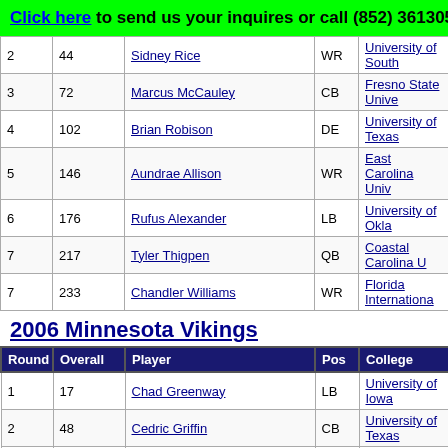Click here to send us your inquires or call (852) 36130518
| Round | Overall | Player | Pos | College |
| --- | --- | --- | --- | --- |
| 2 | 44 | Sidney Rice | WR | University of South... |
| 3 | 72 | Marcus McCauley | CB | Fresno State Unive... |
| 4 | 102 | Brian Robison | DE | University of Texas... |
| 5 | 146 | Aundrae Allison | WR | East Carolina Univ... |
| 6 | 176 | Rufus Alexander | LB | University of Okla... |
| 7 | 217 | Tyler Thigpen | QB | Coastal Carolina U... |
| 7 | 233 | Chandler Williams | WR | Florida Internationa... |
2006 Minnesota Vikings
| Round | Overall | Player | Pos | College |
| --- | --- | --- | --- | --- |
| 1 | 17 | Chad Greenway | LB | University of Iowa |
| 2 | 48 | Cedric Griffin | CB | University of Texas... |
| 2 | 51 | Ryan Cook | C | University of New ... |
| 2 | 64 | Tarvaris Jackson | QB | Alabama State Uni... |
| 4 | 127 | Ray Edwards | DE | Purdue University |
| 5 | 149 | Greg Blue | DB | University of Georg... |
2005 Minnesota Vikings
| Round | Overall | Player | Pos | College |
| --- | --- | --- | --- | --- |
| 1 | 7 | Troy Williamson | WR | University of South... |